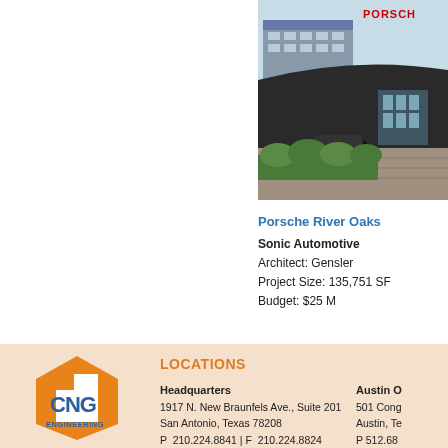[Figure (photo): Exterior rendering of Porsche River Oaks dealership building with Porsche signage, modern architecture, parking lot and landscaping.]
Porsche River Oaks
Sonic Automotive
Architect: Gensler
Project Size: 135,751 SF
Budget: $25 M
[Figure (logo): CNG Engineering logo — orange hexagon with white CNG text and ENGINEERING below]
LOCATIONS
Headquarters
1917 N. New Braunfels Ave., Suite 201
San Antonio, Texas 78208
P  210.224.8841 | F  210.224.8824
Austin O
501 Cong
Austin, Te
P 512.68